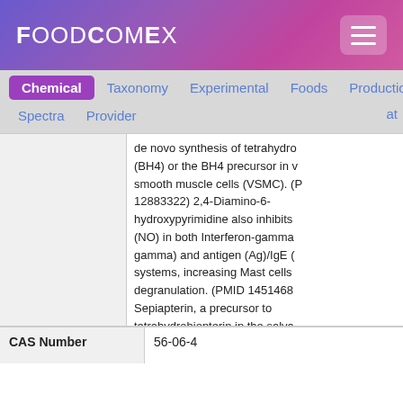FoodComEx
Chemical  Taxonomy  Experimental  Foods  Production  Spectra  Provider
de novo synthesis of tetrahydrobiopterin (BH4) or the BH4 precursor in vascular smooth muscle cells (VSMC). (PMID 12883322) 2,4-Diamino-6-hydroxypyrimidine also inhibits (NO) in both Interferon-gamma (IFN-gamma) and antigen (Ag)/IgE (IgE) systems, increasing Mast cells degranulation. (PMID 14514681) Sepiapterin, a precursor to tetrahydrobiopterin in the salvage pathway, completely reverses the effect of 2,4-diamino-6-hydroxypyrimidine on neuronal NO-synthase (nNOS) ubiquitylation. (PMID 16216381) [HMDB]
| CAS Number |  |
| --- | --- |
| CAS Number | 56-06-4 |